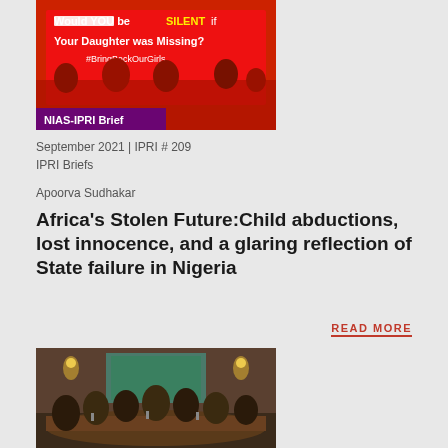[Figure (photo): Red protest banner reading 'Would YOU be SILENT if Your Daughter was Missing? #BringBackOurGirls' with people in red outfits, with a purple NIAS-IPRI Brief label overlay at the bottom.]
September 2021 | IPRI # 209
IPRI Briefs
Apoorva Sudhakar
Africa's Stolen Future:Child abductions, lost innocence, and a glaring reflection of State failure in Nigeria
READ MORE
[Figure (photo): Group of armed Taliban fighters seated around a conference table in a formal room with paintings on the wall and lit wall sconces.]